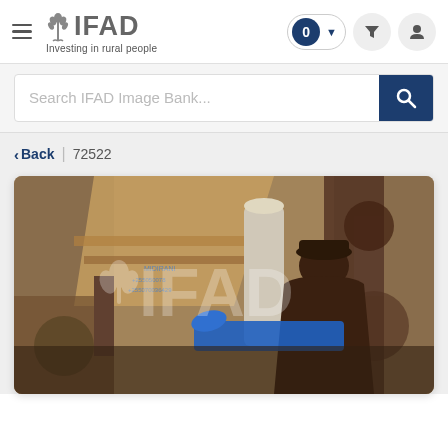[Figure (logo): IFAD logo with wheat sheaf icon and tagline 'Investing in rural people']
Search IFAD Image Bank...
Back | 72522
[Figure (photo): A person working with industrial milling or grain processing machinery, photographed from behind. The image has an IFAD watermark overlaid. The setting appears to be a workshop or mill with various metal equipment visible.]